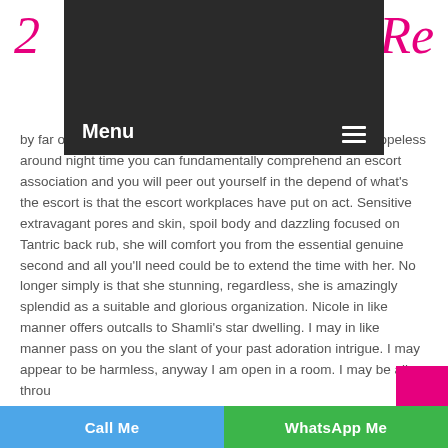Menu ≡
by far of the conditions while on the planet, you are feeling hopeless around night time you can fundamentally comprehend an escort association and you will peer out yourself in the depend of what's the escort is that the escort workplaces have put on act. Sensitive extravagant pores and skin, spoil body and dazzling focused on Tantric back rub, she will comfort you from the essential genuine second and all you'll need could be to extend the time with her. No longer simply is that she stunning, regardless, she is amazingly splendid as a suitable and glorious organization. Nicole in like manner offers outcalls to Shamli's star dwelling. I may in like manner pass on you the slant of your past adoration intrigue. I may appear to be harmless, anyway I am open in a room. I may be all throu…
Call Me   WhatsApp Me